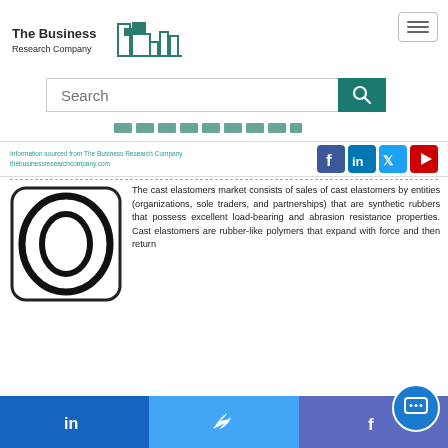[Figure (logo): The Business Research Company logo with building silhouette in teal]
[Figure (screenshot): Search bar with teal search button and magnifying glass icon]
[Figure (infographic): Redacted/blurred title bar text in dark teal]
Information sourced from The Business Research Company thebusinessresearchcompany.com
[Figure (infographic): Social media icons: Facebook, LinkedIn, Twitter, YouTube]
[Figure (photo): Product image: rubber O-ring / cast elastomer ring inside a rounded rectangle box]
The cast elastomers market consists of sales of cast elastomers by entities (organizations, sole traders, and partnerships) that are synthetic rubbers that possess excellent load-bearing and abrasion resistance properties. Cast elastomers are rubber-like polymers that expand with force and then return
[Figure (infographic): Bottom social share bar with LinkedIn, Twitter, Facebook icons on blue background, and chat bubble widget]